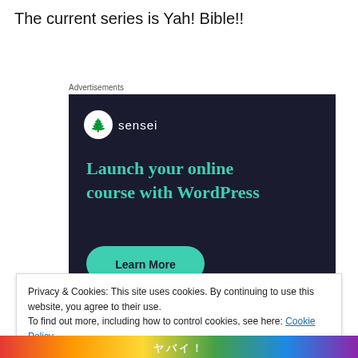The current series is Yah! Bible!!
Advertisements
[Figure (infographic): Sensei advertisement: dark navy background with Sensei logo (tree icon in white circle), headline 'Launch your online course with WordPress' in teal, and a teal 'Learn More' button.]
Privacy & Cookies: This site uses cookies. By continuing to use this website, you agree to their use.
To find out more, including how to control cookies, see here: Cookie Policy
Close and accept
[Figure (illustration): Colorful decorative banner at the bottom of the page with anime/manga style design in red, yellow, and multicolor.]